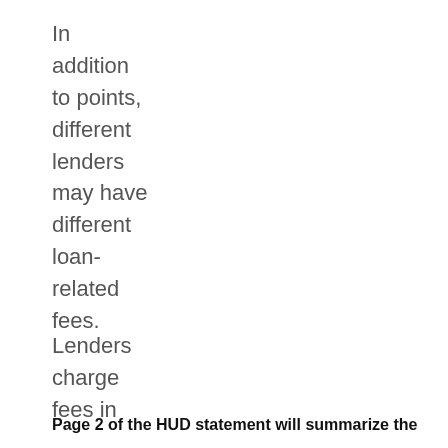In addition to points, different lenders may have different loan-related fees.
Lenders charge fees in
Page 2 of the HUD statement will summarize the